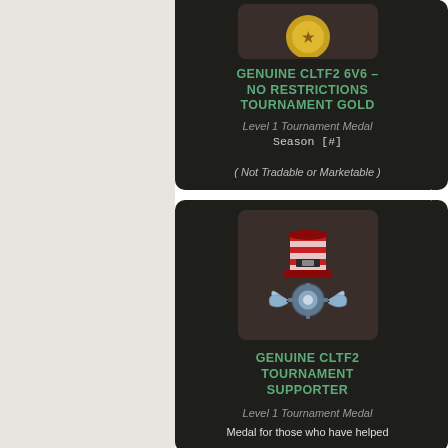[Figure (screenshot): Top card: Genuine CLTF2 6v6 No Restrictions Tournament Gold - Level 1 Tournament Medal, Season [#], Not Tradable or Marketable]
GENUINE CLTF2 6V6 - NO RESTRICTIONS TOURNAMENT GOLD
Level 1 Tournament Medal
Season [#]
( Not Tradable or Marketable )
[Figure (illustration): Bottom card: Genuine CLTF2 Tournament Supporter medal image - a red-striped cylindrical hat shape with winged gear emblem below]
GENUINE CLTF2 TOURNAMENT SUPPORTER
Level 1 Tournament Medal
Medal for those who have helped